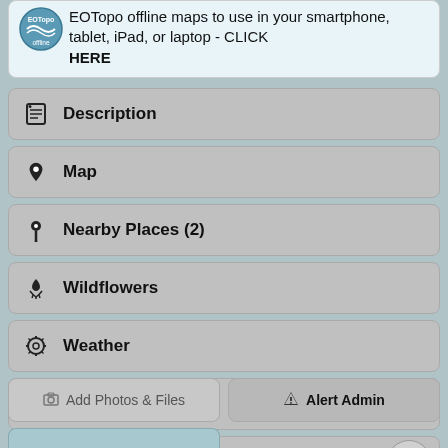EOTopo offline maps to use in your smartphone, tablet, iPad, or laptop - CLICK HERE
Description
Map
Nearby Places (2)
Wildflowers
Weather
Update History
Comments & Reviews
Add Photos & Files
Alert Admin